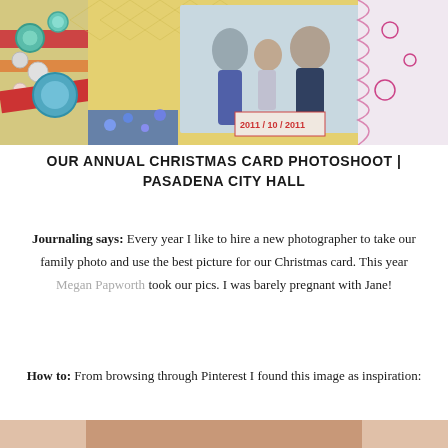[Figure (photo): A scrapbook page showing a family photo of a woman, child, and man at Pasadena City Hall with decorative elements including teal buttons, patterned washi tape, and colorful embellishments]
OUR ANNUAL CHRISTMAS CARD PHOTOSHOOT | PASADENA CITY HALL
Journaling says: Every year I like to hire a new photographer to take our family photo and use the best picture for our Christmas card. This year Megan Papworth took our pics. I was barely pregnant with Jane!
How to: From browsing through Pinterest I found this image as inspiration:
[Figure (photo): Bottom portion of an inspirational image found on Pinterest, partially visible at the bottom of the page]